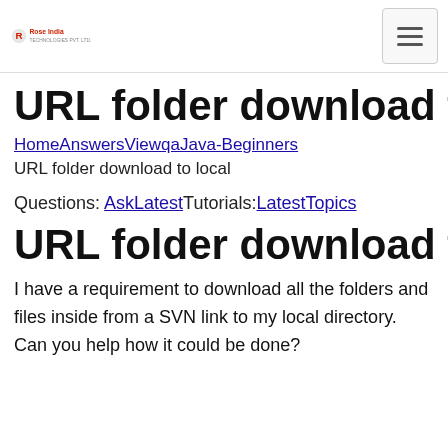Rose India Technologies Pvt Ltd [logo] [hamburger menu]
URL folder download to local
HomeAnswersViewqaJava-Beginners
URL folder download to local
Questions: AskLatestTutorials:LatestTopics
URL folder download to local
I have a requirement to download all the folders and files inside from a SVN link to my local directory. Can you help how it could be done?